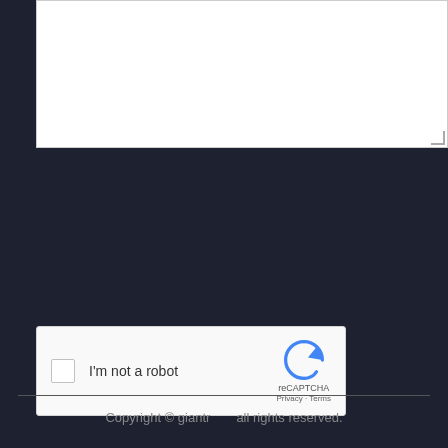[Figure (screenshot): White textarea input box with resize handle in bottom-right corner]
[Figure (screenshot): reCAPTCHA widget: checkbox, 'I'm not a robot' label, reCAPTCHA logo, Privacy and Terms links]
[Figure (screenshot): Orange 'Send Message' button]
[Figure (screenshot): Green circular WhatsApp button with phone/chat icon]
[Figure (screenshot): Orange square scroll-to-top button with up arrow]
[Figure (screenshot): Green circular phone/call button]
Copyright © giantr all rights reserved.